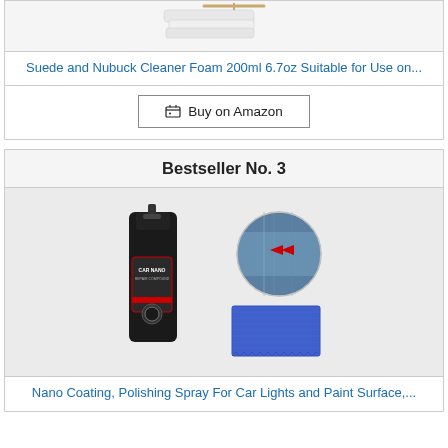[Figure (photo): Product image area showing folded white towels/cloths at the top]
Suede and Nubuck Cleaner Foam 200ml 6.7oz Suitable for Use on...
Buy on Amazon
Bestseller No. 3
[Figure (photo): Product image showing a black CAR NANO spray bottle on left, a circular image of car surface being treated in top right, and a blue microfiber cloth in bottom right]
Nano Coating, Polishing Spray For Car Lights and Paint Surface,...